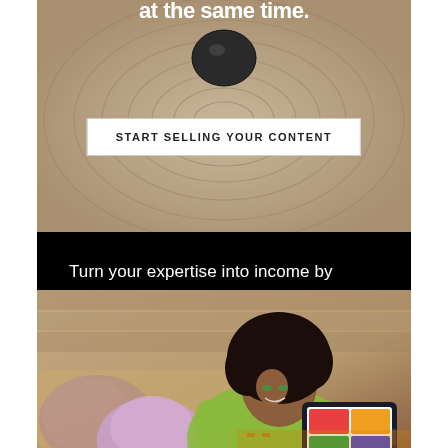[Figure (photo): Zen garden with sand and a dark stone, with concentric circle patterns in the sand. White text overlay reads 'at the same time.' A white button reads 'START SELLING YOUR CONTENT' at the bottom.]
Turn your expertise into income by selling access to courses, classes, and community with Squarespace.
[Figure (photo): A smiling young woman with curly natural hair, wearing a green top, sitting with another person with purple hair, both looking at a colorful tablet screen showing a website or app interface.]